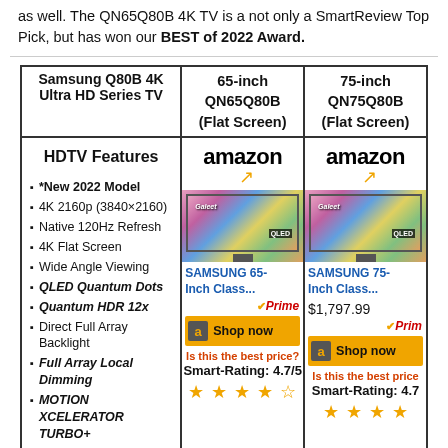as well. The QN65Q80B 4K TV is a not only a SmartReview Top Pick, but has won our BEST of 2022 Award.
| Samsung Q80B 4K Ultra HD Series TV | 65-inch QN65Q80B (Flat Screen) | 75-inch QN75Q80B (Flat Screen) |
| --- | --- | --- |
| HDTV Features
*New 2022 Model
4K 2160p (3840×2160)
Native 120Hz Refresh
4K Flat Screen
Wide Angle Viewing
QLED Quantum Dots
Quantum HDR 12x
Direct Full Array Backlight
Full Array Local Dimming
MOTION XCELERATOR TURBO+
100% Color Volume
Supreme UHD Dimming
Voice Command
Richer Sounds & More | amazon / SAMSUNG 65-Inch Class... / Prime / Shop now / Is this the best price? / Smart-Rating: 4.7/5 / ★★★★☆ | amazon / SAMSUNG 75-Inch Class... / $1,797.99 / Prime / Shop now / Is this the best price? / Smart-Rating: 4.7 |